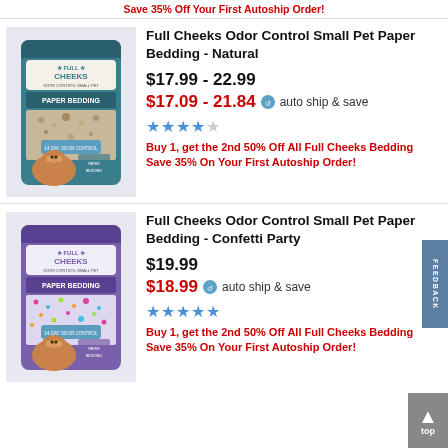Save 35% Off Your First Autoship Order!
[Figure (photo): Full Cheeks Paper Bedding - Natural package with guinea pig image, teal/brown colors]
Full Cheeks Odor Control Small Pet Paper Bedding - Natural
$17.99 - 22.99
$17.09 - 21.84 auto ship & save
★★★★☆
Buy 1, get the 2nd 50% Off All Full Cheeks Bedding
Save 35% On Your First Autoship Order!
[Figure (photo): Full Cheeks Paper Bedding - Confetti Party package with guinea pig image, purple/multicolor confetti pattern]
Full Cheeks Odor Control Small Pet Paper Bedding - Confetti Party
$19.99
$18.99 auto ship & save
★★★★★
Buy 1, get the 2nd 50% Off All Full Cheeks Bedding
Save 35% On Your First Autoship Order!